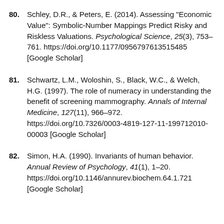80. Schley, D.R., & Peters, E. (2014). Assessing "Economic Value": Symbolic-Number Mappings Predict Risky and Riskless Valuations. Psychological Science, 25(3), 753–761. https://doi.org/10.1177/0956797613515485 [Google Scholar]
81. Schwartz, L.M., Woloshin, S., Black, W.C., & Welch, H.G. (1997). The role of numeracy in understanding the benefit of screening mammography. Annals of Internal Medicine, 127(11), 966–972. https://doi.org/10.7326/0003-4819-127-11-199712010-00003 [Google Scholar]
82. Simon, H.A. (1990). Invariants of human behavior. Annual Review of Psychology, 41(1), 1–20. https://doi.org/10.1146/annurev.biochem.64.1.721 [Google Scholar]